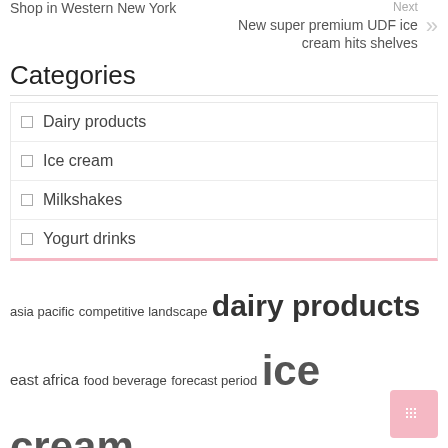Shop in Western New York
Next
New super premium UDF ice cream hits shelves
Categories
Dairy products
Ice cream
Milkshakes
Yogurt drinks
asia pacific  competitive landscape  dairy products  east africa  food beverage  forecast period  ice cream  market growth  market report  market research  market share  market size  middle east  north america  united states
Recent Posts